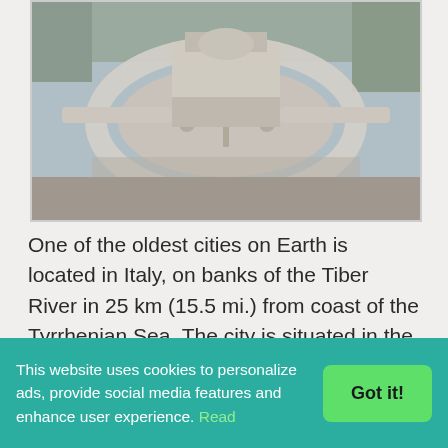[Figure (photo): Aerial view of St. Peter's Square in Vatican City, Rome, showing the elliptical colonnade, central obelisk, and surrounding urban area.]
One of the oldest cities on Earth is located in Italy, on banks of the Tiber River in 25 km (15.5 mi.) from coast of the Tyrrhenian Sea. The city is situated in the zone of subtopic Mediterranean climate. Weather of the locality is formed under influence of the sea from west and Apennine Mountains from east.
This website uses cookies to personalize ads, provide social media features and enhance user experience. Read